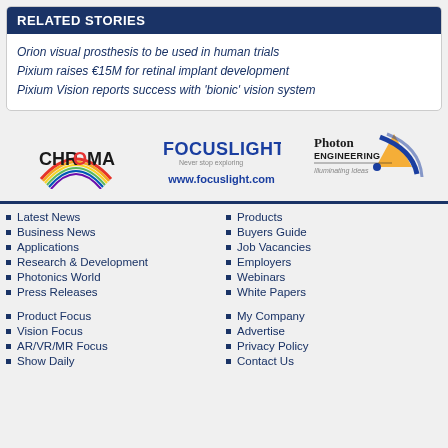RELATED STORIES
Orion visual prosthesis to be used in human trials
Pixium raises €15M for retinal implant development
Pixium Vision reports success with 'bionic' vision system
[Figure (logo): Chroma logo, Focuslight logo with www.focuslight.com, Photon Engineering Illuminating Ideas logo]
Latest News
Business News
Applications
Research & Development
Photonics World
Press Releases
Product Focus
Vision Focus
AR/VR/MR Focus
Show Daily
Products
Buyers Guide
Job Vacancies
Employers
Webinars
White Papers
My Company
Advertise
Privacy Policy
Contact Us